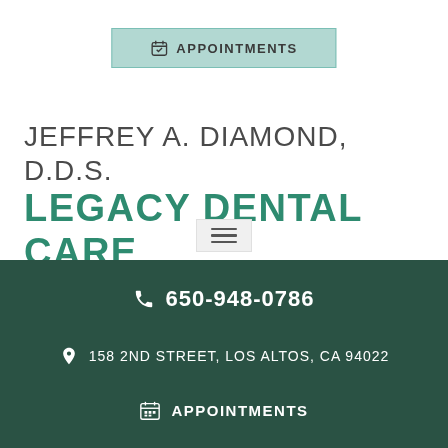APPOINTMENTS
JEFFREY A. DIAMOND, D.D.S.
LEGACY DENTAL CARE
[Figure (other): Hamburger menu icon (three horizontal lines) in a light gray box]
650-948-0786
158 2ND STREET, LOS ALTOS, CA 94022
APPOINTMENTS